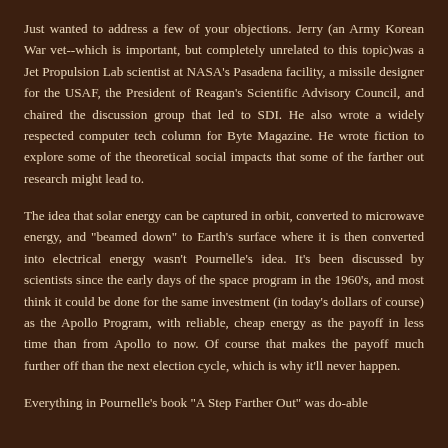Just wanted to address a few of your objections. Jerry (an Army Korean War vet--which is important, but completely unrelated to this topic)was a Jet Propulsion Lab scientist at NASA's Pasadena facility, a missile designer for the USAF, the President of Reagan's Scientific Advisory Council, and chaired the discussion group that led to SDI. He also wrote a widely respected computer tech column for Byte Magazine. He wrote fiction to explore some of the theoretical social impacts that some of the farther out research might lead to.
The idea that solar energy can be captured in orbit, converted to microwave energy, and "beamed down" to Earth's surface where it is then converted into electrical energy wasn't Pournelle's idea. It's been discussed by scientists since the early days of the space program in the 1960's, and most think it could be done for the same investment (in today's dollars of course) as the Apollo Program, with reliable, cheap energy as the payoff in less time than from Apollo to now. Of course that makes the payoff much further off than the next election cycle, which is why it'll never happen.
Everything in Pournelle's book "A Step Farther Out" was do-able